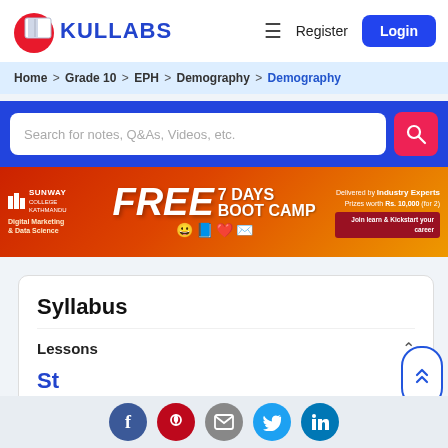[Figure (logo): Kullabs logo with open book icon and blue text 'KULLABS']
Register
Login
Home > Grade 10 > EPH > Demography > Demography
Search for notes, Q&As, Videos, etc.
[Figure (infographic): Sunway Digital Marketing & Data Science FREE 7 DAYS BOOT CAMP advertisement banner. Delivered by Industry Experts. Prizes worth Rs. 10,000 (for 2). Join learn & Kickstart your career.]
Syllabus
Lessons
[Figure (screenshot): Partial blue text visible at the bottom of the syllabus card]
[Figure (infographic): Social media icons row: Facebook, Pinterest, Mail, Twitter, LinkedIn]